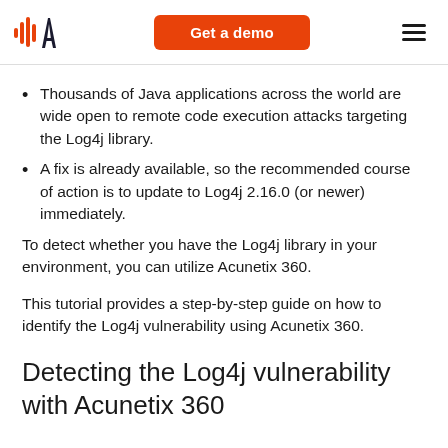Acunetix logo | Get a demo | Menu
Thousands of Java applications across the world are wide open to remote code execution attacks targeting the Log4j library.
A fix is already available, so the recommended course of action is to update to Log4j 2.16.0 (or newer) immediately.
To detect whether you have the Log4j library in your environment, you can utilize Acunetix 360.
This tutorial provides a step-by-step guide on how to identify the Log4j vulnerability using Acunetix 360.
Detecting the Log4j vulnerability with Acunetix 360